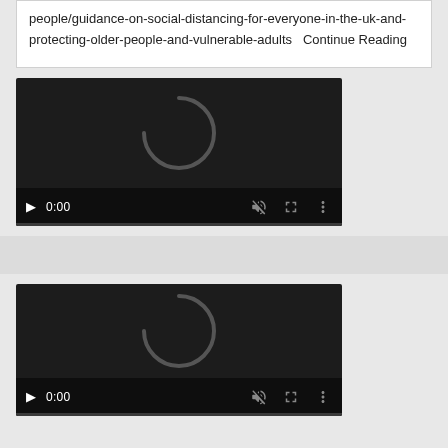people/guidance-on-social-distancing-for-everyone-in-the-uk-and-protecting-older-people-and-vulnerable-adults   Continue Reading
[Figure (screenshot): Embedded video player (dark background) with loading spinner, play button, timestamp 0:00, mute icon, fullscreen icon, and more options icon. Progress bar at bottom.]
[Figure (screenshot): Second embedded video player (dark background) with loading spinner, play button, timestamp 0:00, mute icon, fullscreen icon, and more options icon. Partially visible at bottom of page.]